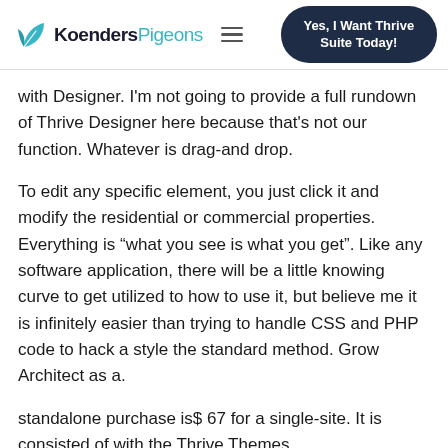KoendersPigeons | Yes, I Want Thrive Suite Today!
with Designer. I'm not going to provide a full rundown of Thrive Designer here because that's not our function. Whatever is drag-and drop.
To edit any specific element, you just click it and modify the residential or commercial properties. Everything is “what you see is what you get”. Like any software application, there will be a little knowing curve to get utilized to how to use it, but believe me it is infinitely easier than trying to handle CSS and PHP code to hack a style the standard method. Grow Architect as a.
standalone purchase is$ 67 for a single-site. It is consisted of with the Thrive Themes